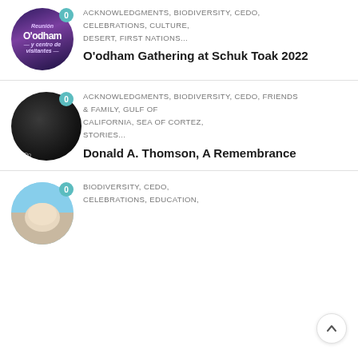[Figure (illustration): Circular thumbnail with purple night sky and 'Reunión O'odham' text overlay]
ACKNOWLEDGMENTS, BIODIVERSITY, CEDO, CELEBRATIONS, CULTURE, DESERT, FIRST NATIONS...
O'odham Gathering at Schuk Toak 2022
[Figure (photo): Dark circular thumbnail, mostly black with 'Dr. Do' text partially visible at bottom]
ACKNOWLEDGMENTS, BIODIVERSITY, CEDO, FRIENDS & FAMILY, GULF OF CALIFORNIA, SEA OF CORTEZ, STORIES...
Donald A. Thomson, A Remembrance
[Figure (photo): Circular thumbnail showing animal/nature scene with blue sky and light-colored fur or feathers]
BIODIVERSITY, CEDO, CELEBRATIONS, EDUCATION,